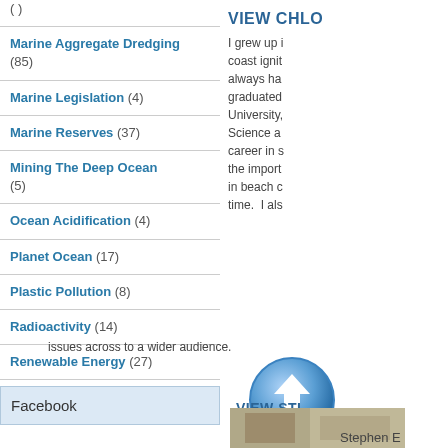Marine Aggregate Dredging (85)
Marine Legislation (4)
Marine Reserves (37)
Mining The Deep Ocean (5)
Ocean Acidification (4)
Planet Ocean (17)
Plastic Pollution (8)
Radioactivity (14)
Renewable Energy (27)
Facebook
VIEW CHLO
I grew up i coast ignit always ha graduated University, Science a career in s the import in beach c time.  I als
issues across to a wider audience.
[Figure (illustration): Blue circular TOP button with upward arrow]
VIEW STI
Stephen E
[Figure (photo): Photo of Stephen E, partial view showing indoor scene]